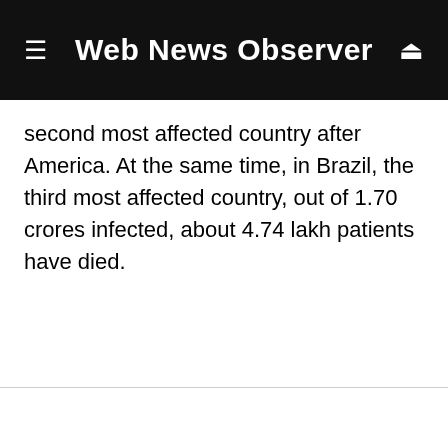Web News Observer
second most affected country after America. At the same time, in Brazil, the third most affected country, out of 1.70 crores infected, about 4.74 lakh patients have died.